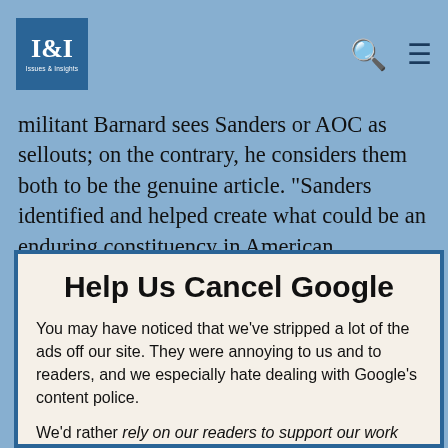I&I Issues & Insights
militant Barnard sees Sanders or AOC as sellouts; on the contrary, he considers them both to be the genuine article. "Sanders identified and helped create what could be an enduring constituency in American politics...If it's possible that Bernie Sanders can win a national election, that means that the
Help Us Cancel Google
You may have noticed that we've stripped a lot of the ads off our site. They were annoying to us and to readers, and we especially hate dealing with Google's content police.
We'd rather rely on our readers to support our work directly than get pennies from giant ad networks.
We won't charge you to access our content, but you can help us keep this site going with a donation.